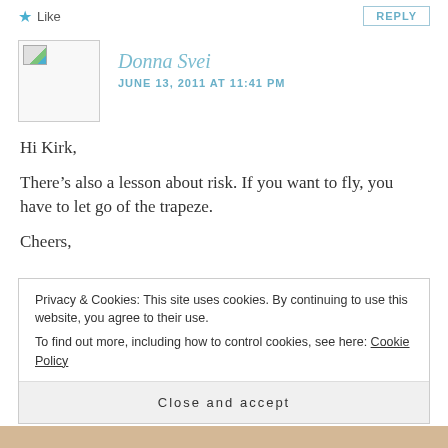★ Like
REPLY
[Figure (photo): User avatar placeholder image for Donna Svei]
Donna Svei
JUNE 13, 2011 AT 11:41 PM
Hi Kirk,
There's also a lesson about risk. If you want to fly, you have to let go of the trapeze.
Cheers,
Privacy & Cookies: This site uses cookies. By continuing to use this website, you agree to their use.
To find out more, including how to control cookies, see here: Cookie Policy
Close and accept